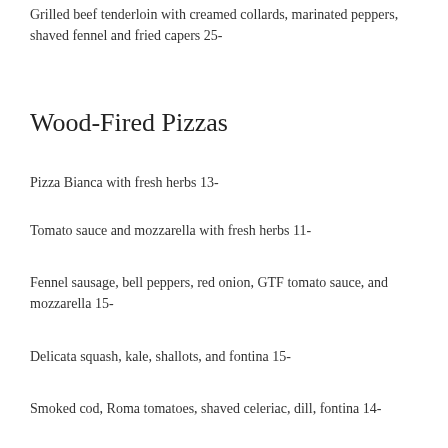Grilled beef tenderloin with creamed collards, marinated peppers, shaved fennel and fried capers 25-
Wood-Fired Pizzas
Pizza Bianca with fresh herbs 13-
Tomato sauce and mozzarella with fresh herbs 11-
Fennel sausage, bell peppers, red onion, GTF tomato sauce, and mozzarella 15-
Delicata squash, kale, shallots, and fontina 15-
Smoked cod, Roma tomatoes, shaved celeriac, dill, fontina 14-